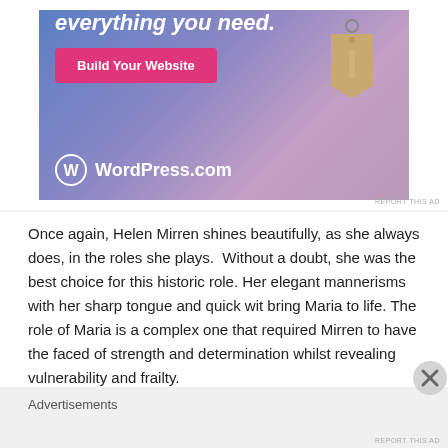[Figure (screenshot): WordPress.com advertisement banner with blue-purple gradient background, 'everything you need.' heading text, pink 'Build Your Website' button, a hanging price tag graphic, and WordPress.com logo at bottom left.]
REPORT THIS AD
Once again, Helen Mirren shines beautifully, as she always does, in the roles she plays.  Without a doubt, she was the best choice for this historic role. Her elegant mannerisms with her sharp tongue and quick wit bring Maria to life. The role of Maria is a complex one that required Mirren to have the faced of strength and determination whilst revealing vulnerability and frailty.
Advertisements
REPORT THIS AD